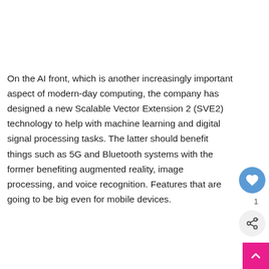On the AI front, which is another increasingly important aspect of modern-day computing, the company has designed a new Scalable Vector Extension 2 (SVE2) technology to help with machine learning and digital signal processing tasks. The latter should benefit things such as 5G and Bluetooth systems with the former benefiting augmented reality, image processing, and voice recognition. Features that are going to be big even for mobile devices.
[Figure (infographic): Like/favorite button (blue circle with heart icon) with count of 1, and a share button (grey circle with share icon), positioned on the right side of the page]
[Figure (infographic): Scroll-to-top button: pink/magenta square in bottom-right corner with an upward chevron arrow]